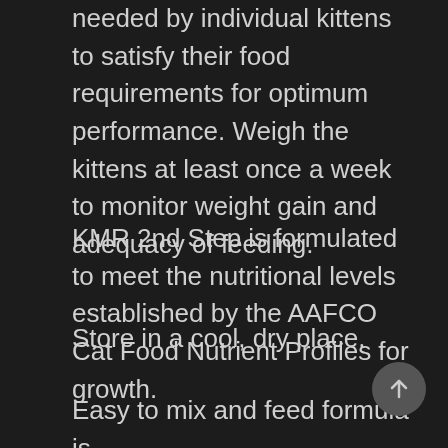needed by individual kittens to satisfy their food requirements for optimum performance. Weigh the kittens at least once a week to monitor weight gain and adequacy of feeding.
KMR 2nd Step is formulated to meet the nutritional levels established by the AAFCO Cat Food Nutrient Profiles for growth.
Store in a cool, dry place.
Easy to mix and feed formula is sealed for freshness in pop-top